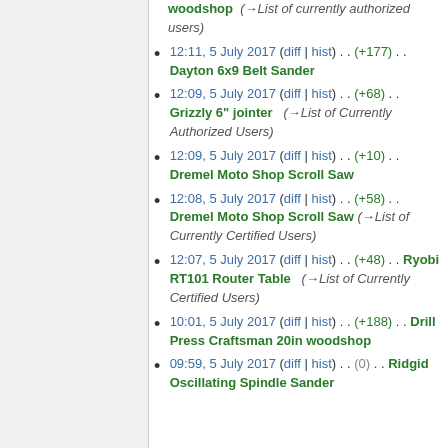woodshop (→List of currently authorized users)
12:11, 5 July 2017 (diff | hist) . . (+177) . . Dayton 6x9 Belt Sander
12:09, 5 July 2017 (diff | hist) . . (+68) . . Grizzly 6" jointer (→List of Currently Authorized Users)
12:09, 5 July 2017 (diff | hist) . . (+10) . . Dremel Moto Shop Scroll Saw
12:08, 5 July 2017 (diff | hist) . . (+58) . . Dremel Moto Shop Scroll Saw (→List of Currently Certified Users)
12:07, 5 July 2017 (diff | hist) . . (+48) . . Ryobi RT101 Router Table (→List of Currently Certified Users)
10:01, 5 July 2017 (diff | hist) . . (+188) . . Drill Press Craftsman 20in woodshop
09:59, 5 July 2017 (diff | hist) . . (0) . . Ridgid Oscillating Spindle Sander